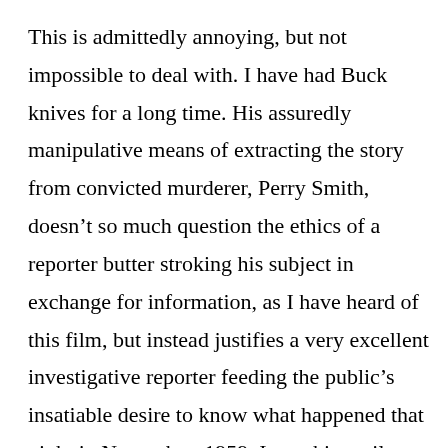This is admittedly annoying, but not impossible to deal with. I have had Buck knives for a long time. His assuredly manipulative means of extracting the story from convicted murderer, Perry Smith, doesn't so much question the ethics of a reporter butter stroking his subject in exchange for information, as I have heard of this film, but instead justifies a very excellent investigative reporter feeding the public's insatiable desire to know what happened that night in November, 1959. I use this until my children are at least 4 years old. Now swimming, so these putty buddies fit firmly and stop water getting in which can be